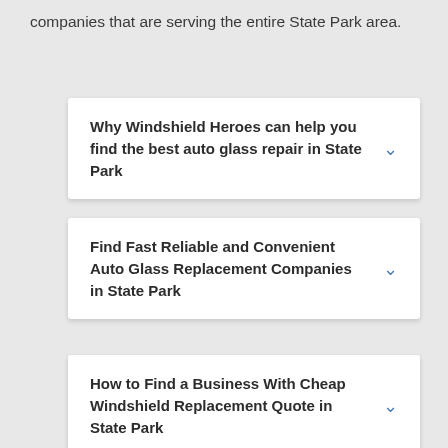companies that are serving the entire State Park area.
Why Windshield Heroes can help you find the best auto glass repair in State Park
Find Fast Reliable and Convenient Auto Glass Replacement Companies in State Park
How to Find a Business With Cheap Windshield Replacement Quote in State Park